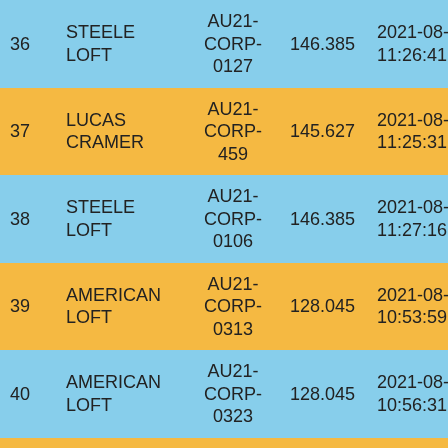| # | Name | Code | Value | Date/Time | ID |
| --- | --- | --- | --- | --- | --- |
| 36 | STEELE LOFT | AU21-CORP-0127 | 146.385 | 2021-08-21 11:26:41.854 | 966 |
| 37 | LUCAS CRAMER | AU21-CORP-459 | 145.627 | 2021-08-21 11:25:31.653 | 965 |
| 38 | STEELE LOFT | AU21-CORP-0106 | 146.385 | 2021-08-21 11:27:16.132 | 963 |
| 39 | AMERICAN LOFT | AU21-CORP-0313 | 128.045 | 2021-08-21 10:53:59.697 | 963 |
| 40 | AMERICAN LOFT | AU21-CORP-0323 | 128.045 | 2021-08-21 10:56:31.531 | 952 |
| 41 | ROCKY TOP | AU21-RARE-0009 | 137.131 | 2021-08-21 11:13:24.476 | 952 |
| 42 | ROCKY TOP | AU21-JEDD- | 137.131 | 2021-08-21 | 952 |